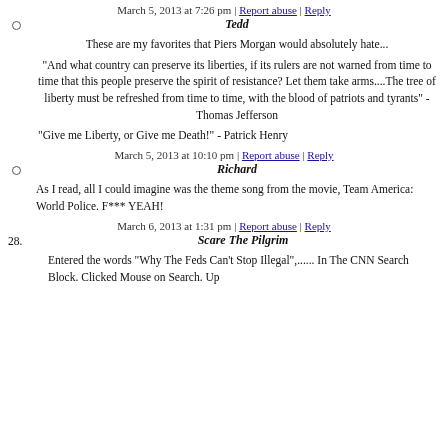March 5, 2013 at 7:26 pm | Report abuse | Reply
Tedd
These are my favorites that Piers Morgan would absolutely hate...
"And what country can preserve its liberties, if its rulers are not warned from time to time that this people preserve the spirit of resistance? Let them take arms....The tree of liberty must be refreshed from time to time, with the blood of patriots and tyrants" - Thomas Jefferson
"Give me Liberty, or Give me Death!" - Patrick Henry
March 5, 2013 at 10:10 pm | Report abuse | Reply
Richard
As I read, all I could imagine was the theme song from the movie, Team America: World Police. F*** YEAH!
March 6, 2013 at 1:31 pm | Report abuse | Reply
28. Scare The Pilgrim
Entered the words "Why The Feds Can't Stop Illegal",...... In The CNN Search Block. Clicked Mouse on Search. Up